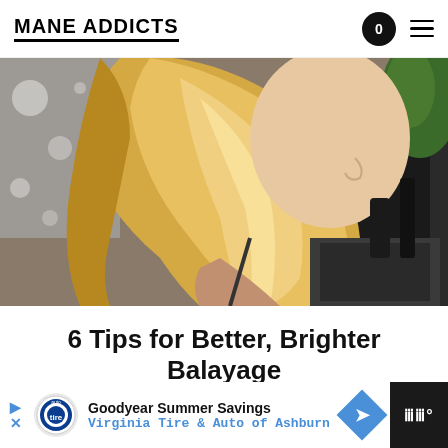MANE ADDICTS
[Figure (photo): Side profile of a woman with long, wavy blonde balayage hair, photographed indoors in a kitchen-like setting.]
6 Tips for Better, Brighter Balayage
According to celebrity colorist Cassondra Kaeding.
[Figure (screenshot): Advertisement banner: Goodyear Summer Savings - Virginia Tire & Auto of Ashburn, with Goodyear logo and blue arrow icon.]